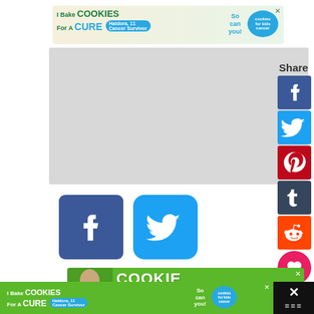[Figure (infographic): Top advertisement banner: 'I Bake COOKIES For A CURE - So can you! Haldora, 11 Cancer Survivor - cookies for kids cancer']
[Figure (infographic): Large gray placeholder content area]
[Figure (infographic): Facebook share icon button (blue square with white F logo)]
[Figure (infographic): Twitter share icon button (blue rounded square with white bird logo)]
[Figure (infographic): Bottom advertisement banner showing child and 'COOKIE DOUGH' text on green background]
[Figure (infographic): Right side Share bar with Facebook, Twitter, Pinterest, Tumblr, Reddit icon buttons and like/share floating buttons]
[Figure (infographic): Bottom bar advertisement: 'I Bake COOKIES For A CURE - So can you! Haldora, 11 Cancer Survivor' on green background with dark close area]